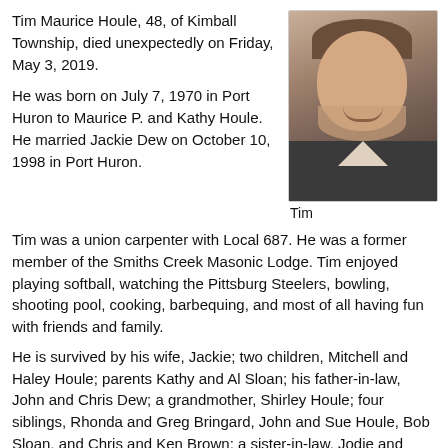Tim Maurice Houle, 48, of Kimball Township, died unexpectedly on Friday, May 3, 2019.

He was born on July 7, 1970 in Port Huron to Maurice P. and Kathy Houle. He married Jackie Dew on October 10, 1998 in Port Huron.
[Figure (photo): Portrait photo of Tim Houle, a heavyset older man with a beard and cap, smiling, wearing a dark jacket]
Tim
Tim was a union carpenter with Local 687. He was a former member of the Smiths Creek Masonic Lodge. Tim enjoyed playing softball, watching the Pittsburg Steelers, bowling, shooting pool, cooking, barbequing, and most of all having fun with friends and family.
He is survived by his wife, Jackie; two children, Mitchell and Haley Houle; parents Kathy and Al Sloan; his father-in-law, John and Chris Dew; a grandmother, Shirley Houle; four siblings, Rhonda and Greg Bringard, John and Sue Houle, Bob Sloan, and Chris and Ken Brown; a sister-in-law, Jodie and Mike Gorrell; and many aunts, uncles, nieces, nephews, cousins, and many special friends. He was preceded in death by his father, Maurice “Pat” Houle; a grandfather, Maurice Houle; a grandmother, Norma Fleming; two uncles, Ron Houle and R.D. J.J. Fleming; and his